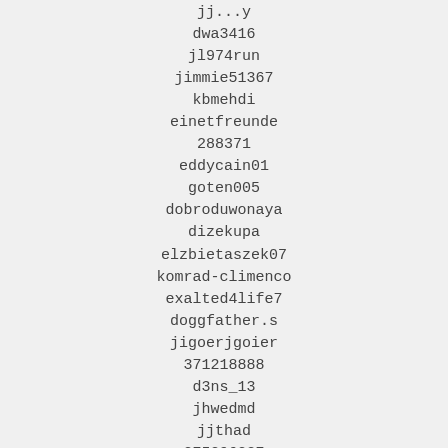jj...y
dwa3416
jl974run
jimmie51367
kbmehdi
einetfreunde
288371
eddycain01
goten005
dobroduwonaya
dizekupa
elzbietaszek07
komrad-climenco
exalted4life7
doggfather.s
jigoerjgoier
371218888
d3ns_13
jhwedmd
jjthad
275296237
8derrerhakim99
154179821
644738748
awakings